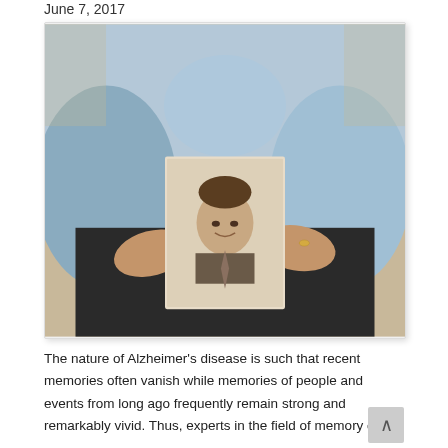June 7, 2017
[Figure (photo): An elderly person sitting and holding a vintage black-and-white portrait photograph of a young man in a suit and tie. The person holding the photo is wearing a light blue shirt and dark pants, with a wedding ring visible on one hand.]
The nature of Alzheimer's disease is such that recent memories often vanish while memories of people and events from long ago frequently remain strong and remarkably vivid. Thus, experts in the field of memory care